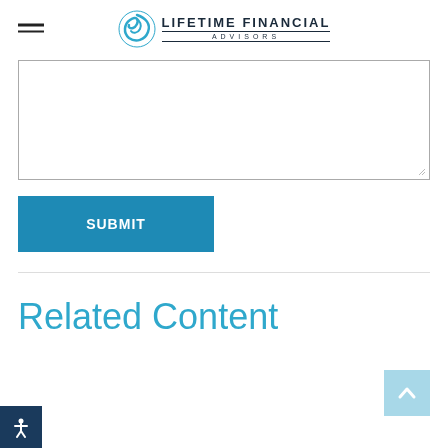Lifetime Financial Advisors
[Figure (other): Text input textarea form field, empty, with resize handle at bottom right]
[Figure (other): Blue SUBMIT button]
Related Content